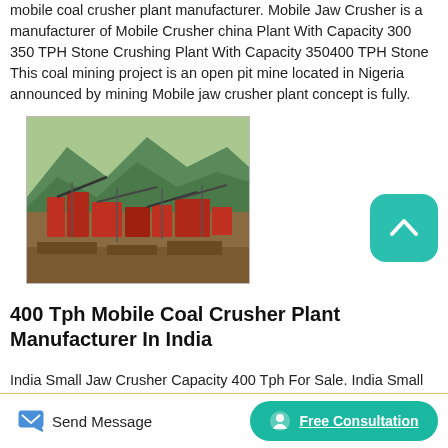mobile coal crusher plant manufacturer. Mobile Jaw Crusher is a manufacturer of Mobile Crusher china Plant With Capacity 300 350 TPH Stone Crushing Plant With Capacity 350400 TPH Stone This coal mining project is an open pit mine located in Nigeria announced by mining Mobile jaw crusher plant concept is fully.
[Figure (photo): Outdoor industrial site with red mobile jaw crusher machinery, conveyor equipment, and crushing plant components set against a mountainous green background.]
400 Tph Mobile Coal Crusher Plant Manufacturer In India
India Small Jaw Crusher Capacity 400 Tph For Sale. India Small Jaw
Send Message
Free Consultation